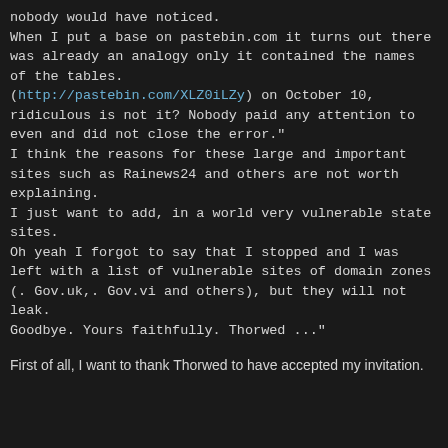nobody would have noticed.
When I put a base on pastebin.com it turns out there was already an analogy only it contained the names of the tables. (http://pastebin.com/XLZ0iLZy) on October 10, ridiculous is not it? Nobody paid any attention to even and did not close the error."
I think the reasons for these large and important sites such as Rainews24 and others are not worth explaining.
I just want to add, in a world very vulnerable state sites.
Oh yeah I forgot to say that I stopped and I was left with a list of vulnerable sites of domain zones (. Gov.uk,. Gov.vi and others), but they will not leak.
Goodbye. Yours faithfully. Thorwed ..."
First of all, I want to thank Thorwed to have accepted my invitation.